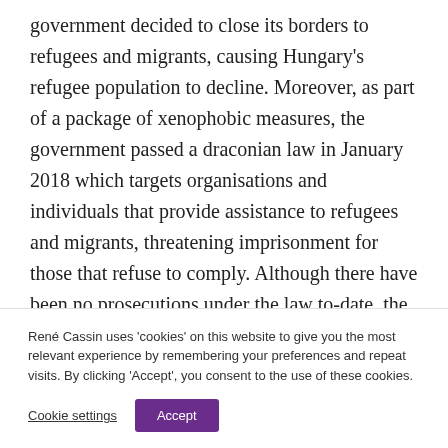government decided to close its borders to refugees and migrants, causing Hungary's refugee population to decline. Moreover, as part of a package of xenophobic measures, the government passed a draconian law in January 2018 which targets organisations and individuals that provide assistance to refugees and migrants, threatening imprisonment for those that refuse to comply. Although there have been no prosecutions under the law to-date, the law has
René Cassin uses 'cookies' on this website to give you the most relevant experience by remembering your preferences and repeat visits. By clicking 'Accept', you consent to the use of these cookies.
Cookie settings
Accept